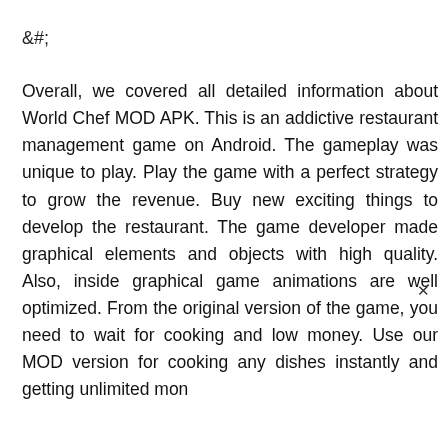&#;
Overall, we covered all detailed information about World Chef MOD APK. This is an addictive restaurant management game on Android. The gameplay was unique to play. Play the game with a perfect strategy to grow the revenue. Buy new exciting things to develop the restaurant. The game developer made graphical elements and objects with high quality. Also, inside graphical game animations are well optimized. From the original version of the game, you need to wait for cooking and low money. Use our MOD version for cooking any dishes instantly and getting unlimited mon
×